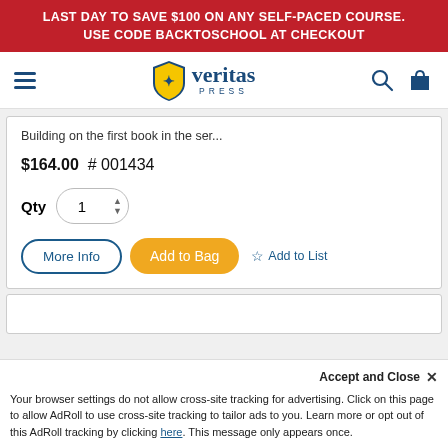LAST DAY TO SAVE $100 ON ANY SELF-PACED COURSE. USE CODE BACKTOSCHOOL AT CHECKOUT
[Figure (logo): Veritas Press logo with shield icon and text 'veritas PRESS']
Building on the first book in the ser...
$164.00  # 001434
Qty  1
More Info   Add to Bag   Add to List
Accept and Close ×
Your browser settings do not allow cross-site tracking for advertising. Click on this page to allow AdRoll to use cross-site tracking to tailor ads to you. Learn more or opt out of this AdRoll tracking by clicking here. This message only appears once.